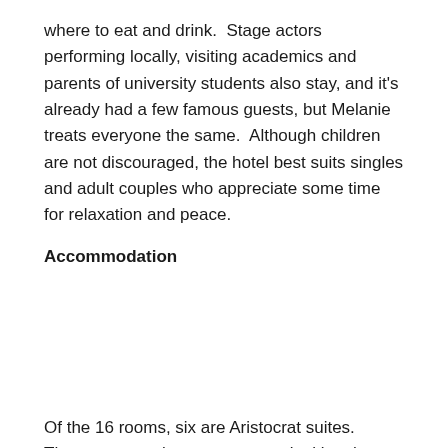where to eat and drink.  Stage actors performing locally, visiting academics and parents of university students also stay, and it's already had a few famous guests, but Melanie treats everyone the same.  Although children are not discouraged, the hotel best suits singles and adult couples who appreciate some time for relaxation and peace.
Accommodation
Of the 16 rooms, six are Aristocrat suites. These are very large rooms overlooking the lime trees at the front. There is a vestibule creating a passageway for each of these guest rooms. Not only does this cut down potential noise from the